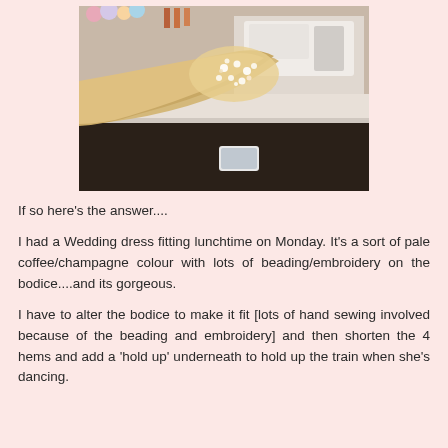[Figure (photo): A wedding dress with pale champagne/coffee color and beading/embroidery on the bodice, laid out on a white table near a sewing machine in a workshop setting.]
If so here's the answer....
I had a Wedding dress fitting lunchtime on Monday. It's a sort of pale coffee/champagne colour with lots of beading/embroidery on the bodice....and its gorgeous.
I have to alter the bodice to make it fit [lots of hand sewing involved because of the beading and embroidery] and then shorten the 4 hems and add a 'hold up' underneath to hold up the train when she's dancing.